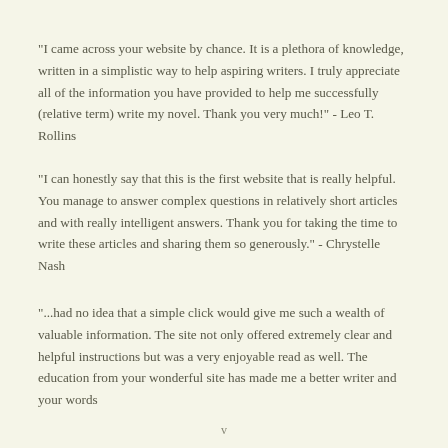"I came across your website by chance. It is a plethora of knowledge, written in a simplistic way to help aspiring writers. I truly appreciate all of the information you have provided to help me successfully (relative term) write my novel. Thank you very much!" - Leo T. Rollins
"I can honestly say that this is the first website that is really helpful. You manage to answer complex questions in relatively short articles and with really intelligent answers. Thank you for taking the time to write these articles and sharing them so generously." - Chrystelle Nash
"...had no idea that a simple click would give me such a wealth of valuable information. The site not only offered extremely clear and helpful instructions but was a very enjoyable read as well. The education from your wonderful site has made me a better writer and your words
v